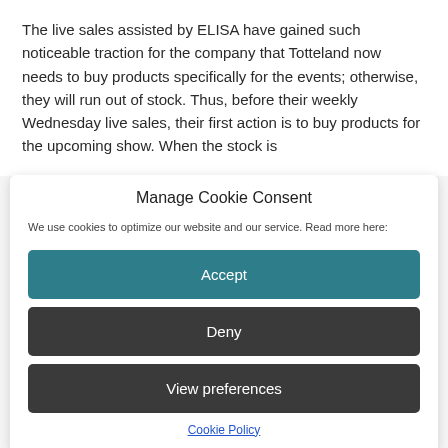The live sales assisted by ELISA have gained such noticeable traction for the company that Totteland now needs to buy products specifically for the events; otherwise, they will run out of stock. Thus, before their weekly Wednesday live sales, their first action is to buy products for the upcoming show. When the stock is
Manage Cookie Consent
We use cookies to optimize our website and our service. Read more here:
Accept
Deny
View preferences
Cookie Policy